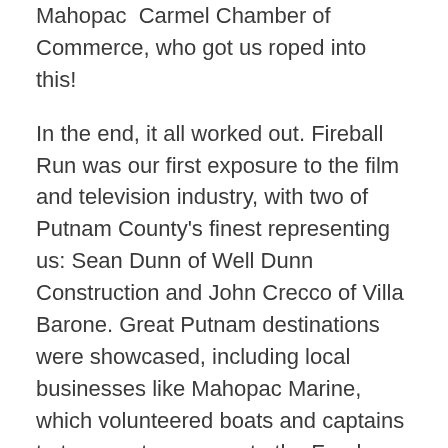Mahopac  Carmel Chamber of Commerce, who got us roped into this!
In the end, it all worked out. Fireball Run was our first exposure to the film and television industry, with two of Putnam County's finest representing us: Sean Dunn of Well Dunn Construction and John Crecco of Villa Barone. Great Putnam destinations were showcased, including local businesses like Mahopac Marine, which volunteered boats and captains to transport everyone to the Frank Lloyd Wright inspired Massaro house in the middle of Lake Mahopac. Tommy from Bucci Brothers deli and staff catered at cost and Bull and Barrel Brewery brought delicious libations. The Massaro family generously opened their home to us despite the treacherous rainstorm. Our neighbors came together under less than ideal conditions and came along with